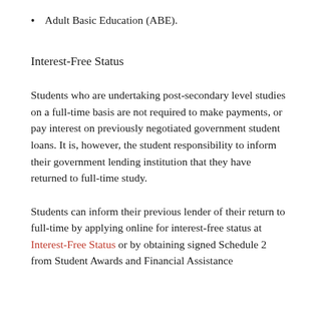Adult Basic Education (ABE).
Interest-Free Status
Students who are undertaking post-secondary level studies on a full-time basis are not required to make payments, or pay interest on previously negotiated government student loans. It is, however, the student responsibility to inform their government lending institution that they have returned to full-time study.
Students can inform their previous lender of their return to full-time by applying online for interest-free status at Interest-Free Status or by obtaining signed Schedule 2 from Student Awards and Financial Assistance at KPU or Student loans